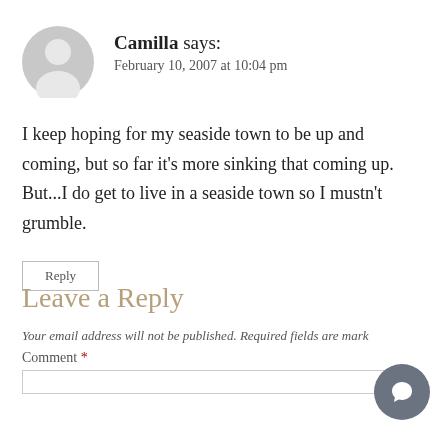[Figure (illustration): Gray circular avatar icon with silhouette of a person, used as a generic user profile image]
Camilla says:
February 10, 2007 at 10:04 pm
I keep hoping for my seaside town to be up and coming, but so far it's more sinking that coming up. But...I do get to live in a seaside town so I mustn't grumble.
Reply
Leave a Reply
Your email address will not be published. Required fields are mark
Comment *